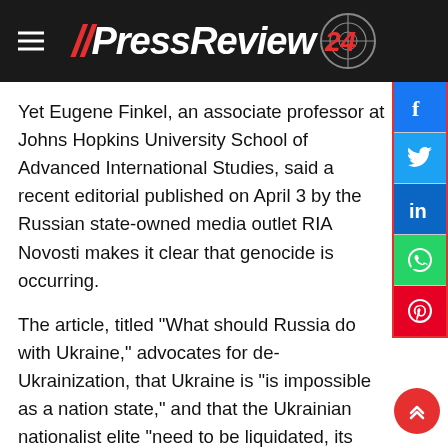//PressReview24
Yet Eugene Finkel, an associate professor at Johns Hopkins University School of Advanced International Studies, said a recent editorial published on April 3 by the Russian state-owned media outlet RIA Novosti makes it clear that genocide is occurring.
The article, titled "What should Russia do with Ukraine," advocates for de-Ukrainization, that Ukraine is "is impossible as a nation state," and that the Ukrainian nationalist elite "need to be liquidated, its education is impossible"
Finkel, who recently wrote his own editorial for the Washington Post with the headline "What's happening in Ukraine is genocide. Period," said the Russian article had to